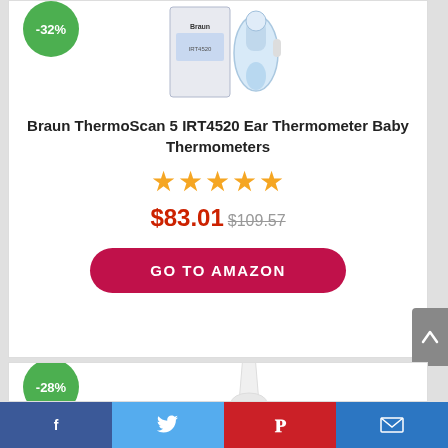[Figure (photo): Braun ThermoScan 5 IRT4520 ear thermometer product image with -32% discount badge]
Braun ThermoScan 5 IRT4520 Ear Thermometer Baby Thermometers
★★★★★
$83.01 $109.57
GO TO AMAZON
[Figure (photo): Second product with -28% discount badge, white thermometer shape visible]